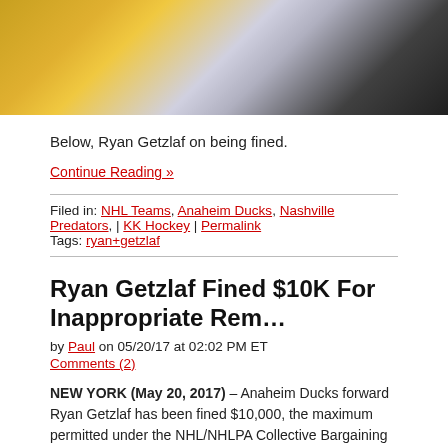[Figure (photo): Partial photo showing hockey player in Nashville Predators jersey and a referee in black and white stripes]
Below, Ryan Getzlaf on being fined.
Continue Reading »
Filed in: NHL Teams, Anaheim Ducks, Nashville Predators, | KK Hockey | Permalink
Tags: ryan+getzlaf
Ryan Getzlaf Fined $10K For Inappropriate Rem…
by Paul on 05/20/17 at 02:02 PM ET
Comments (2)
NEW YORK (May 20, 2017) – Anaheim Ducks forward Ryan Getzlaf has been fined $10,000, the maximum permitted under the NHL/NHLPA Collective Bargaining Agreement, for directing an inappropriate remark toward another on-ice participant in Thursday's game of the team's Western Conference Final Stanley Cup Playoff series with the Nashville Predators, the National Hockey League announced today.
Getzlaf's comment is a violation of the League's policy which prohibits inappropriate, offensive remarks, and the use of obscene, profane or abusive language or gestures during a game.